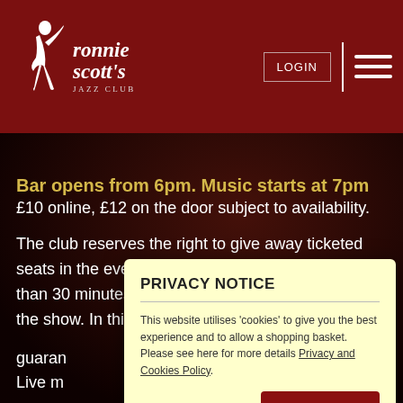Ronnie Scott's Jazz Club — LOGIN | navigation menu
Bar opens from 6pm. Music starts at 7pm
£10 online, £12 on the door subject to availability.
The club reserves the right to give away ticketed seats in the event of the ticket holder arriving later than 30 minutes after the advertised start time of the show. In this case, the ticket holder [partially hidden] guaran[teed]
Live m[usic] surrou[nded]
Thursd[ay]
SELE[CT]
PRIVACY NOTICE
This website utilises 'cookies' to give you the best experience and to allow a shopping basket. Please see here for more details Privacy and Cookies Policy.
Accept & Close